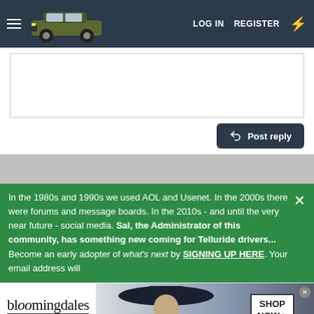LOG IN  REGISTER
[Figure (screenshot): Forum text editor/reply area (white box)]
Post reply
In the 1980s and 1990s we used AOL and Usenet. In the 2000s there were forums and message boards. In the 2010s - and until the very near future - social media. Sal, the Administrator of this community, has something new coming for Telluride drivers... Become an early adopter of what's next by SIGNING UP HERE. Your email address will
[Figure (screenshot): Bloomingdales advertisement banner: logo, 'View Today's Top Deals!', woman with hat, SHOP NOW > button]